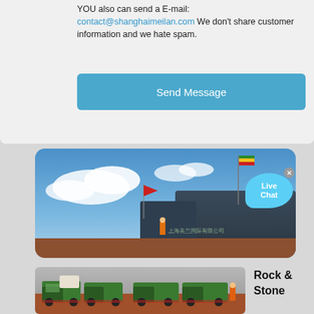YOU also can send a E-mail: contact@shanghaimeilan.com We don't share customer information and we hate spam.
Send Message
[Figure (photo): Outdoor photo showing a truck or industrial vehicle with Chinese text on it, flags visible (green/yellow/red and red), blue sky with clouds in background.]
[Figure (photo): Photo of several large green heavy-duty trucks/mining equipment parked on red/orange dirt terrain, overcast sky, a person in orange safety gear visible.]
Rock & Stone